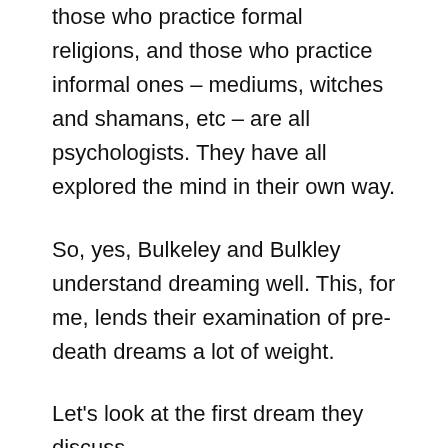those who practice formal religions, and those who practice informal ones – mediums, witches and shamans, etc – are all psychologists. They have all explored the mind in their own way.
So, yes, Bulkeley and Bulkley understand dreaming well. This, for me, lends their examination of pre-death dreams a lot of weight.
Let's look at the first dream they discuss.
This involved a retired merchant marine ship captain, Bill, who, in his eighties, had been diagnosed with bone cancer that had